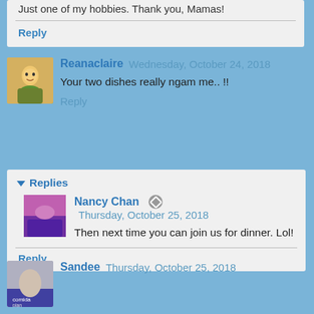Just one of my hobbies. Thank you, Mamas!
Reply
Reanaclaire  Wednesday, October 24, 2018
Your two dishes really ngam me.. !!
Reply
Replies
Nancy Chan  Thursday, October 25, 2018
Then next time you can join us for dinner. Lol!
Reply
Sandee  Thursday, October 25, 2018
I was raised eating okra. My mom loved it ever so much and hubby and I love it too.